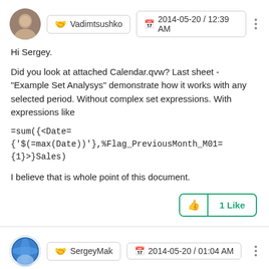[Figure (other): User avatar photo of Vadimtsushko - man's face]
Vadimtsushko  2014-05-20 / 12:39 AM
Hi Sergey.
Did you look at attached Calendar.qvw? Last sheet - "Example Set Analysys" demonstrate how it works with any selected period. Without complex set expressions. With expressions like
I believe that is whole point of this document.
1 Like
[Figure (other): User avatar for SergeyMak - globe/planet icon]
SergeyMak  2014-05-20 / 01:04 AM
Hi Vadim,